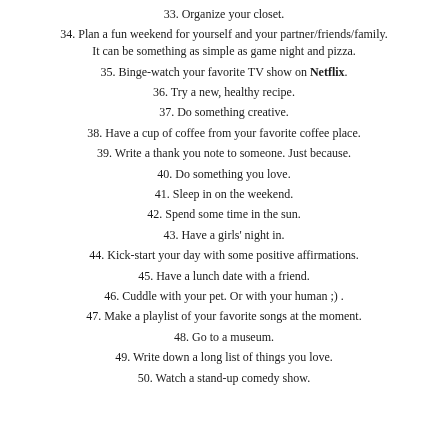33. Organize your closet.
34. Plan a fun weekend for yourself and your partner/friends/family. It can be something as simple as game night and pizza.
35. Binge-watch your favorite TV show on Netflix.
36. Try a new, healthy recipe.
37. Do something creative.
38. Have a cup of coffee from your favorite coffee place.
39. Write a thank you note to someone. Just because.
40. Do something you love.
41. Sleep in on the weekend.
42. Spend some time in the sun.
43. Have a girls' night in.
44. Kick-start your day with some positive affirmations.
45. Have a lunch date with a friend.
46. Cuddle with your pet. Or with your human ;) .
47. Make a playlist of your favorite songs at the moment.
48. Go to a museum.
49. Write down a long list of things you love.
50. Watch a stand-up comedy show.